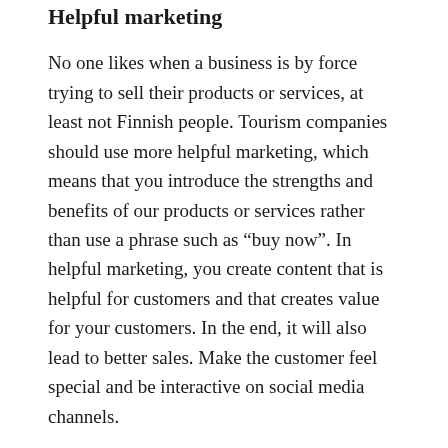Helpful marketing
No one likes when a business is by force trying to sell their products or services, at least not Finnish people. Tourism companies should use more helpful marketing, which means that you introduce the strengths and benefits of our products or services rather than use a phrase such as “buy now”. In helpful marketing, you create content that is helpful for customers and that creates value for your customers. In the end, it will also lead to better sales. Make the customer feel special and be interactive on social media channels.
Focus on online customer experience!